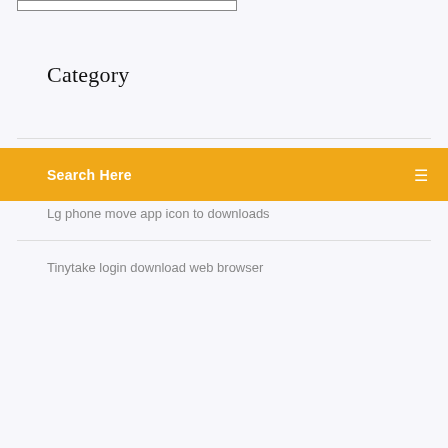Category
Search Here
Lg phone move app icon to downloads
Tinytake login download web browser
Tag Clouds